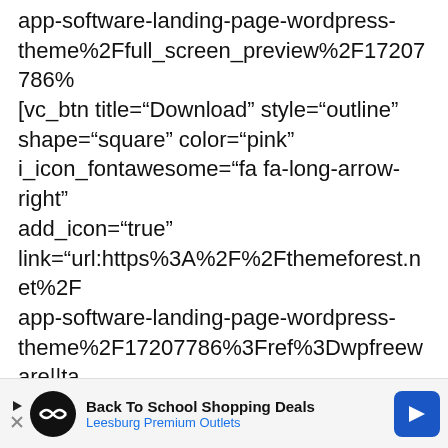app-software-landing-page-wordpress-theme%2Ffull_screen_preview%2F17207786%[vc_btn title="Download" style="outline" shape="square" color="pink" i_icon_fontawesome="fa fa-long-arrow-right" add_icon="true" link="url:https%3A%2F%2Fthemeforest.net%2Fapp-software-landing-page-wordpress-theme%2F17207786%3Fref%3Dwpfreeware||tacss=".vc_custom_1482422811566{padding-left: 20px !important;}"][vc_separator css=".vc_custom_1481465649110{margin-top: 40px !important;}"][/vc_column][/vc_row][vc_row full_width="stretch_row"
[Figure (screenshot): Partial gray overlay with 'no results found for this' text and a CAPTCHA icon visible at bottom right of the page content area]
[Figure (screenshot): Advertisement banner at the bottom: Back To School Shopping Deals, Leesburg Premium Outlets, with logo and navigation arrow icon]